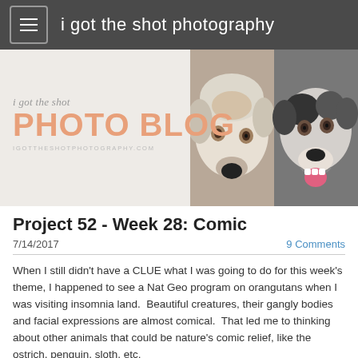i got the shot photography
[Figure (logo): i got the shot PHOTO BLOG banner with URL igottheshotphotography.com overlaid on light background, with two close-up dog face photos on the right side]
Project 52 - Week 28: Comic
7/14/2017
9 Comments
When I still didn't have a CLUE what I was going to do for this week's theme, I happened to see a Nat Geo program on orangutans when I was visiting insomnia land.  Beautiful creatures, their gangly bodies and facial expressions are almost comical.  That led me to thinking about other animals that could be nature's comic relief, like the ostrich, penguin, sloth, etc.